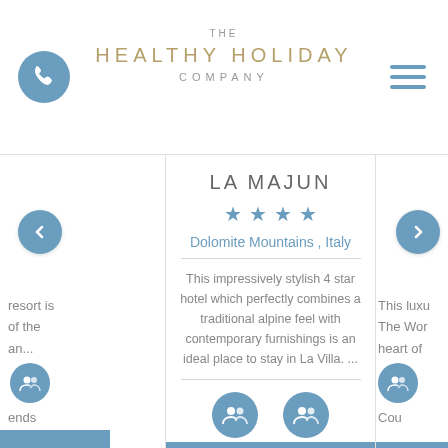THE HEALTHY HOLIDAY COMPANY
LA MAJUN
Dolomite Mountains , Italy
This impressively stylish 4 star hotel which perfectly combines a traditional alpine feel with contemporary furnishings is an ideal place to stay in La Villa. ...
[Figure (infographic): Two icons: Couples and Friends, each represented by a circular blue group icon with label below]
Sharing from: £454